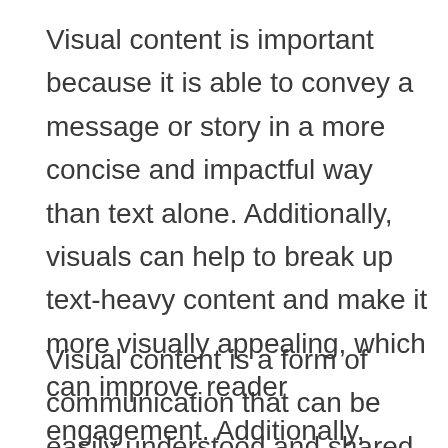Visual content is important because it is able to convey a message or story in a more concise and impactful way than text alone. Additionally, visuals can help to break up text-heavy content and make it more visually appealing, which can improve reader engagement. Additionally, visuals can be used to create a more engaging and interactive experience for the viewer.
Visual content is a form of communication that can be easily understood and shared. It can help to convey a message quickly and